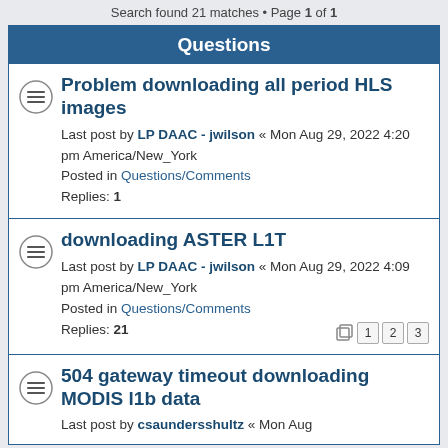Search found 21 matches • Page 1 of 1
Questions
Problem downloading all period HLS images
Last post by LP DAAC - jwilson « Mon Aug 29, 2022 4:20 pm America/New_York
Posted in Questions/Comments
Replies: 1
downloading ASTER L1T
Last post by LP DAAC - jwilson « Mon Aug 29, 2022 4:09 pm America/New_York
Posted in Questions/Comments
Replies: 21
504 gateway timeout downloading MODIS l1b data
Last post by csaundersshultz « Mon Aug